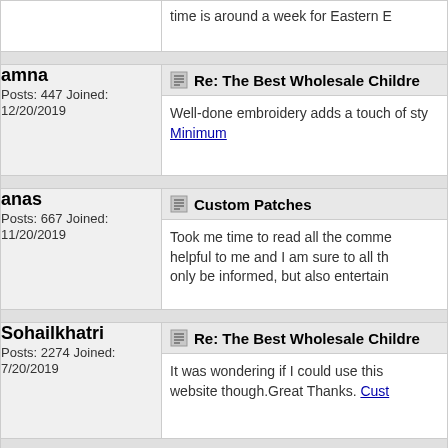time is around a week for Eastern E...
amna
Posts: 447
Joined: 12/20/2019
Re: The Best Wholesale Childre...
Well-done embroidery adds a touch of sty... Minimum
anas
Posts: 667
Joined: 11/20/2019
Custom Patches
Took me time to read all the comme... helpful to me and I am sure to all th... only be informed, but also entertain...
Sohailkhatri
Posts: 2274
Joined: 7/20/2019
Re: The Best Wholesale Childre...
It was wondering if I could use this ... website though.Great Thanks. Cust...
amna
Posts: 447
Joined: 12/20/2019
Re: The Best Wholesale Childre...
This is what commonly happens to the n...